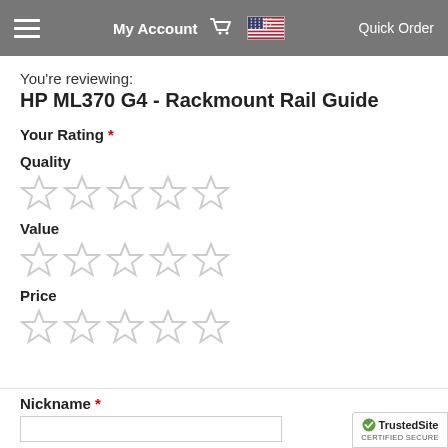My Account  Quick Order
You're reviewing:
HP ML370 G4 - Rackmount Rail Guide
Your Rating *
Quality
[Figure (other): Five empty star rating icons for Quality]
Value
[Figure (other): Five empty star rating icons for Value]
Price
[Figure (other): Five empty star rating icons for Price]
Nickname *